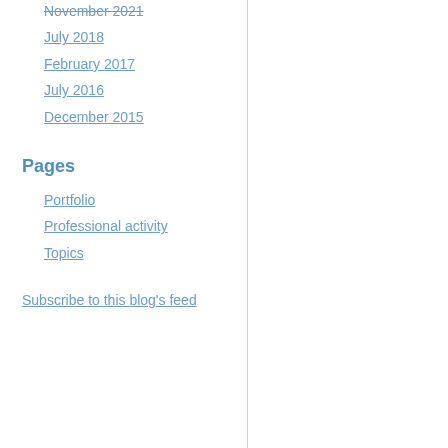November 2021
July 2018
February 2017
July 2016
December 2015
Pages
Portfolio
Professional activity
Topics
Subscribe to this blog's feed